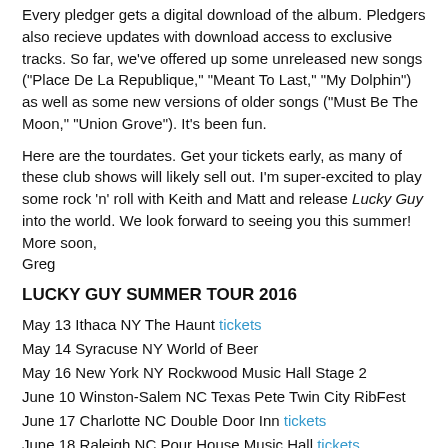Every pledger gets a digital download of the album. Pledgers also recieve updates with download access to exclusive tracks. So far, we've offered up some unreleased new songs ("Place De La Republique," "Meant To Last," "My Dolphin") as well as some new versions of older songs ("Must Be The Moon," "Union Grove"). It's been fun.
Here are the tourdates. Get your tickets early, as many of these club shows will likely sell out. I'm super-excited to play some rock 'n' roll with Keith and Matt and release Lucky Guy into the world. We look forward to seeing you this summer! More soon, Greg
LUCKY GUY SUMMER TOUR 2016
May 13 Ithaca NY The Haunt tickets
May 14 Syracuse NY World of Beer
May 16 New York NY Rockwood Music Hall Stage 2
June 10 Winston-Salem NC Texas Pete Twin City RibFest
June 17 Charlotte NC Double Door Inn tickets
June 18 Raleigh NC Pour House Music Hall tickets